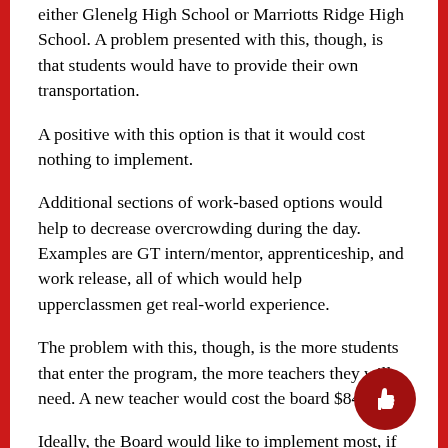either Glenelg High School or Marriotts Ridge High School. A problem presented with this, though, is that students would have to provide their own transportation.
A positive with this option is that it would cost nothing to implement.
Additional sections of work-based options would help to decrease overcrowding during the day. Examples are GT intern/mentor, apprenticeship, and work release, all of which would help upperclassmen get real-world experience.
The problem with this, though, is the more students that enter the program, the more teachers they will need. A new teacher would cost the board $84,000.
Ideally, the Board would like to implement most, if not all, ideas at once. Their concern revolves around the question; where will the money come from?
The board notes fifteen areas regarding increase would...